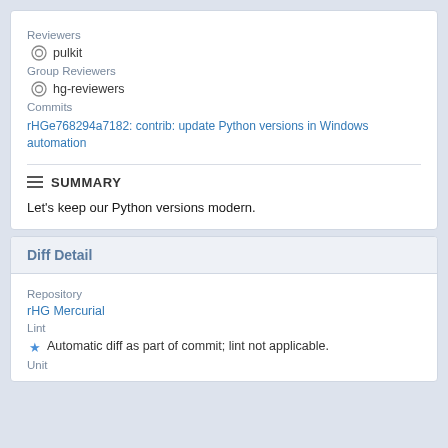Reviewers
pulkit
Group Reviewers
hg-reviewers
Commits
rHGe768294a7182: contrib: update Python versions in Windows automation
SUMMARY
Let's keep our Python versions modern.
Diff Detail
Repository
rHG Mercurial
Lint
Automatic diff as part of commit; lint not applicable.
Unit